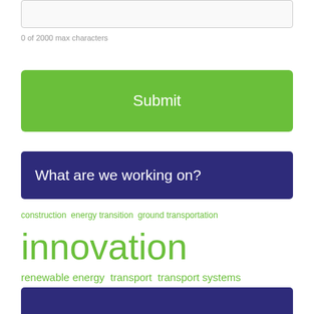[Figure (screenshot): Text input area box (partially visible at top of page)]
0 of 2000 max characters
Submit
What are we working on?
construction  energy transition  ground transportation  innovation  renewable energy  transport  transport systems  urban planning  workshop
(partially visible bottom banner)